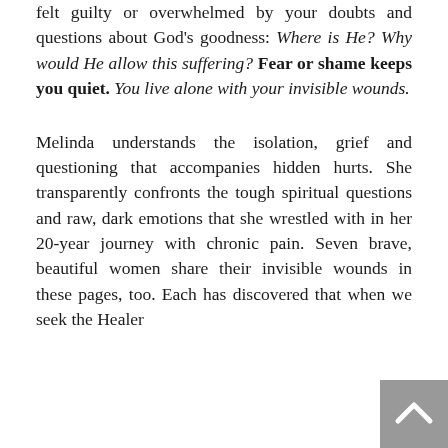felt guilty or overwhelmed by your doubts and questions about God's goodness: Where is He? Why would He allow this suffering? Fear or shame keeps you quiet. You live alone with your invisible wounds.

Melinda understands the isolation, grief and questioning that accompanies hidden hurts. She transparently confronts the tough spiritual questions and raw, dark emotions that she wrestled with in her 20-year journey with chronic pain. Seven brave, beautiful women share their invisible wounds in these pages, too. Each has discovered that when we seek the Healer